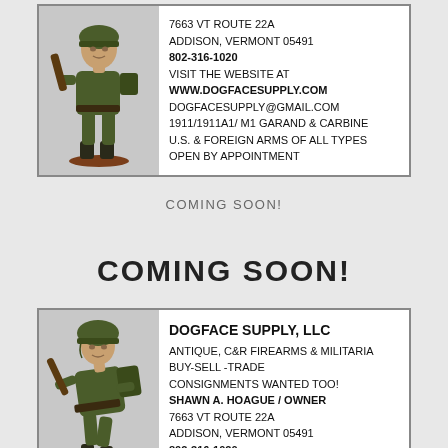[Figure (illustration): Advertisement box with a painted military figurine (WWII soldier in green uniform holding a rifle) on the left, and business text on the right. Top ad for Dogface Supply LLC.]
7663 VT ROUTE 22A
ADDISON, VERMONT 05491
802-316-1020
VISIT THE WEBSITE AT
WWW.DOGFACESUPPLY.COM
DOGFACESUPPLY@GMAIL.COM
1911/1911A1/ M1 GARAND & CARBINE
U.S. & FOREIGN ARMS OF ALL TYPES
OPEN BY APPOINTMENT
COMING SOON!
COMING SOON!
[Figure (illustration): Advertisement box with a painted military figurine (Vietnam-era soldier in green uniform with pack, holding a rifle) on the left, and Dogface Supply LLC business text on the right. Bottom ad.]
DOGFACE SUPPLY, LLC
ANTIQUE, C&R FIREARMS & MILITARIA
BUY-SELL -TRADE
CONSIGNMENTS WANTED TOO!
SHAWN A. HOAGUE / OWNER
7663 VT ROUTE 22A
ADDISON, VERMONT 05491
802-316-1020